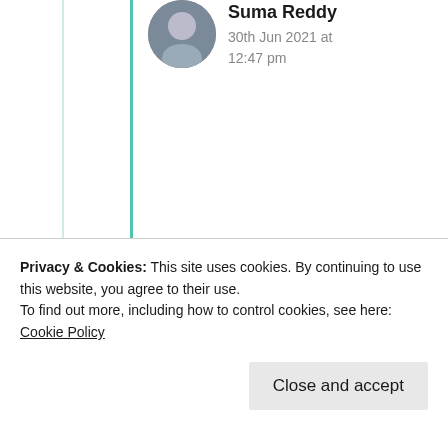Suma Reddy
30th Jun 2021 at 12:47 pm
I was just kidding, never mind.
★ Like
Samridhi
Privacy & Cookies: This site uses cookies. By continuing to use this website, you agree to their use.
To find out more, including how to control cookies, see here: Cookie Policy
Close and accept